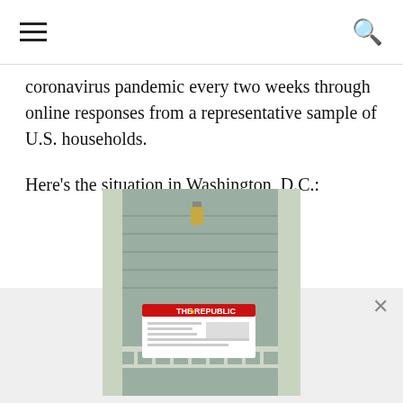Navigation bar with hamburger menu and search icon
coronavirus pandemic every two weeks through online responses from a representative sample of U.S. households.
Here's the situation in Washington, D.C.:
[Figure (photo): Newspaper (The Republic) on a porch of a house with lantern and railings. Modal/paywall image.]
Subscribe to get Unlimited Digital Access
Choose your subscription to The Republic.
Already a subscriber? Link your Subscription or Sign In
Subscribe